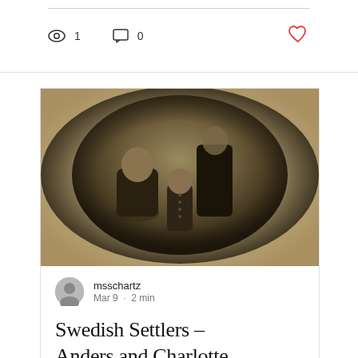[Figure (other): Social media post stats row: eye icon with count 1, comment icon with count 0, heart/like icon (red outline)]
[Figure (photo): Sepia-toned antique family portrait photograph showing three people: a seated woman on the left, a standing man in the back right, and a young child in the center foreground, posed in an oval vignette style typical of 19th century portraiture.]
msschartz
Mar 9 · 2 min
Swedish Settlers – Anders and Charlotte